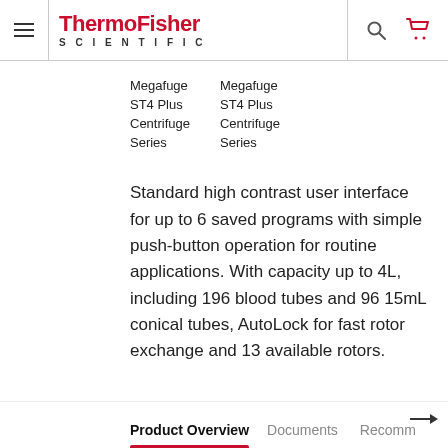ThermoFisher SCIENTIFIC
[Figure (photo): Broken image placeholder for Megafuge ST4 Plus Centrifuge Series (first)]
[Figure (photo): Broken image placeholder for Megafuge ST4 Plus Centrifuge Series (second)]
Standard high contrast user interface for up to 6 saved programs with simple push-button operation for routine applications. With capacity up to 4L, including 196 blood tubes and 96 15mL conical tubes, AutoLock for fast rotor exchange and 13 available rotors.
Product Overview | Documents | Recomm